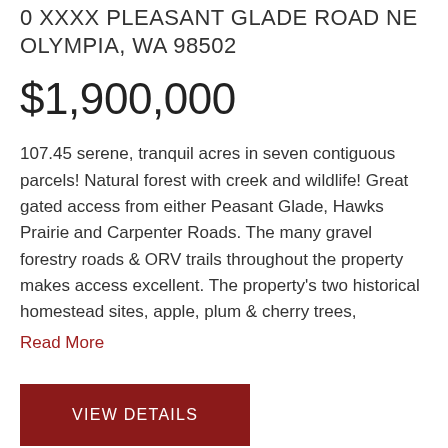0 XXXX PLEASANT GLADE ROAD NE
OLYMPIA, WA 98502
$1,900,000
107.45 serene, tranquil acres in seven contiguous parcels! Natural forest with creek and wildlife! Great gated access from either Peasant Glade, Hawks Prairie and Carpenter Roads. The many gravel forestry roads & ORV trails throughout the property makes access excellent. The property's two historical homestead sites, apple, plum & cherry trees,
Read More
VIEW DETAILS